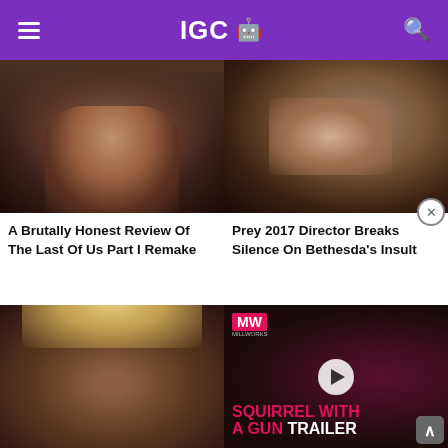IGC 🤖
[Figure (photo): Close-up of a young woman with dark hair and facial scratches, likely from The Last of Us Part I video game]
A Brutally Honest Review Of The Last Of Us Part I Remake
[Figure (photo): Close-up of a bearded man with red eyes covering his face with his hand]
Prey 2017 Director Breaks Silence On Bethesda's Insult
[Figure (photo): Mugshot-style photo of a young man with blonde dreadlocks]
[Figure (screenshot): Video player overlay showing MW logo, dark background, play button, and text reading SQUIRREL WITH A GUN TRAILER]
[Figure (photo): Partial photo of a person at bottom right]
[Figure (photo): Partial photo at bottom right of page]